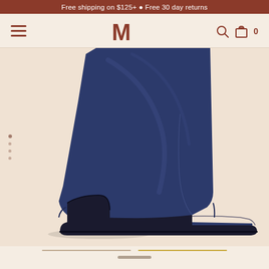Free shipping on $125+ • Free 30 day returns
[Figure (screenshot): E-commerce website navigation bar with hamburger menu icon on left, stylized M logo in center (brown/terracotta color), search icon and shopping bag icon with '0' count on right, on a beige/cream background]
[Figure (photo): Navy blue leather ankle boot with a block heel and patent leather cap toe, photographed from the side against a light beige/peach background. The boot features smooth navy leather upper and a contrasting glossy black patent toe cap.]